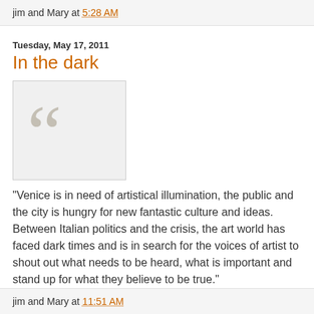jim and Mary at 5:28 AM
Tuesday, May 17, 2011
In the dark
[Figure (illustration): Large decorative opening double quotation mark graphic on a light grey background inside a bordered box]
“Venice is in need of artistical illumination, the public and the city is hungry for new fantastic culture and ideas. Between Italian politics and the crisis, the art world has faced dark times and is in search for the voices of artist to shout out what needs to be heard, what is important and stand up for what they believe to be true.”
CNZ Venice Blog
jim and Mary at 11:51 AM